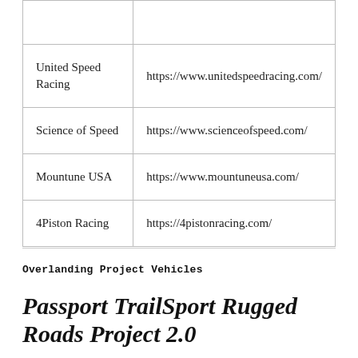|  |  |
| United Speed Racing | https://www.unitedspeedracing.com/ |
| Science of Speed | https://www.scienceofspeed.com/ |
| Mountune USA | https://www.mountuneusa.com/ |
| 4Piston Racing | https://4pistonracing.com/ |
Overlanding Project Vehicles
Passport TrailSport Rugged Roads Project 2.0